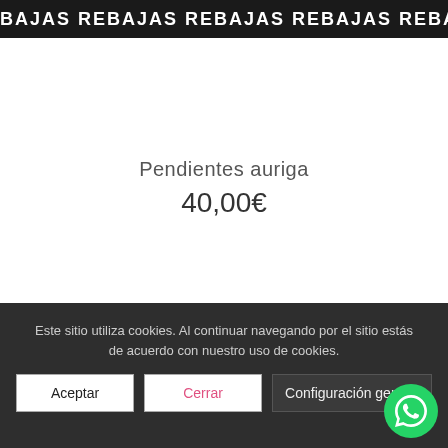BAJAS REBAJAS REBAJAS REBAJAS REBAJAS REBAJAS REBAJAS RE
Pendientes auriga
40,00€
Este sitio utiliza cookies. Al continuar navegando por el sitio estás de acuerdo con nuestro uso de cookies.
Aceptar
Cerrar
Configuración genera
[Figure (logo): WhatsApp circular green button with phone/chat icon]